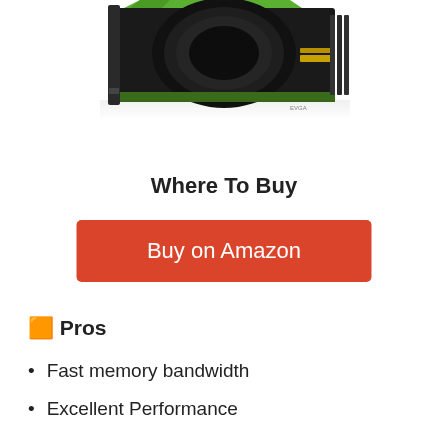[Figure (photo): EVGA graphics card / GPU product photo shown at angle against white background, partially cropped at top]
Where To Buy
Buy on Amazon
🟧 Pros
Fast memory bandwidth
Excellent Performance